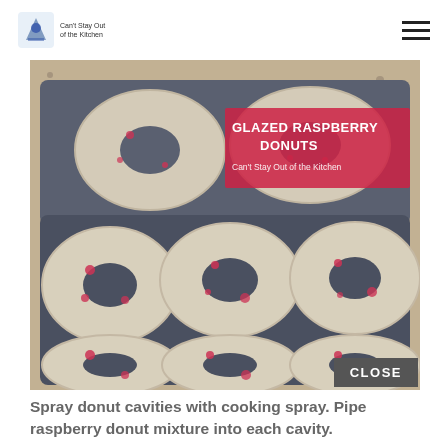Can't Stay Out of the Kitchen
[Figure (photo): Glazed Raspberry Donuts in donut baking pans, showing unbaked donut rings with raspberry pieces, overlaid with text 'GLAZED RASPBERRY DONUTS' and 'Can't Stay Out of the Kitchen']
Spray donut cavities with cooking spray. Pipe raspberry donut mixture into each cavity.